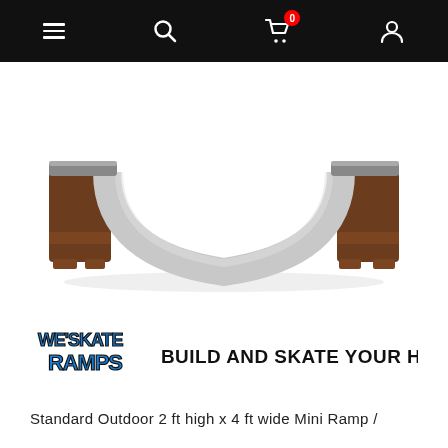Navigation bar with menu, search, cart (0 items), and account icons
[Figure (photo): A mini half-pipe / U-ramp skateboard ramp with wooden sides and a curved gray riding surface, viewed from the front against a white background.]
[Figure (logo): Weskate Ramps logo with blue graffiti-style text, alongside the tagline 'BUILD AND SKATE YOUR HAPPY PLACE!']
Standard Outdoor 2 ft high x 4 ft wide Mini Ramp /